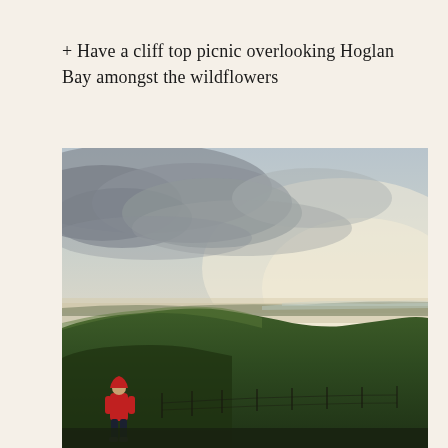+ Have a cliff top picnic overlooking Hoglan Bay amongst the wildflowers
[Figure (photo): A landscape photograph showing a person in a red hoodie standing near a fence line in the foreground, looking out over rolling green hills and a wide bay visible in the distance under a dramatic cloudy sky with hazy light breaking through.]